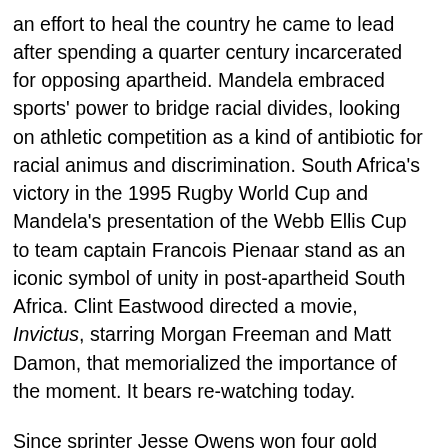an effort to heal the country he came to lead after spending a quarter century incarcerated for opposing apartheid. Mandela embraced sports' power to bridge racial divides, looking on athletic competition as a kind of antibiotic for racial animus and discrimination. South Africa's victory in the 1995 Rugby World Cup and Mandela's presentation of the Webb Ellis Cup to team captain Francois Pienaar stand as an iconic symbol of unity in post-apartheid South Africa. Clint Eastwood directed a movie, Invictus, starring Morgan Freeman and Matt Damon, that memorialized the importance of the moment. It bears re-watching today.
Since sprinter Jesse Owens won four gold medals at the 1936 Berlin Olympics and boxer Joe Louis scored a first-round knockout over German heavyweight Max Schmeling in 1938,